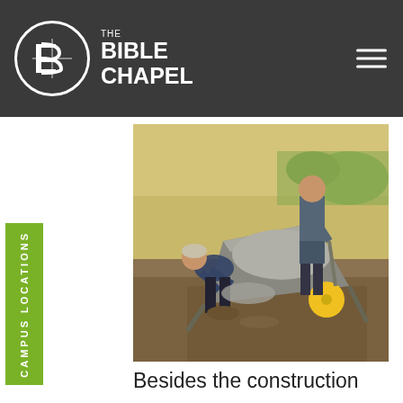THE BIBLE CHAPEL
[Figure (photo): Two people working with a wheelbarrow full of concrete/gravel at a construction site outdoors. One person is bent over shoveling material out of the wheelbarrow, wearing a hat and dark clothing. Another person stands behind holding a shovel. Dry grass and dirt visible in the background.]
CAMPUS LOCATIONS
Besides the construction